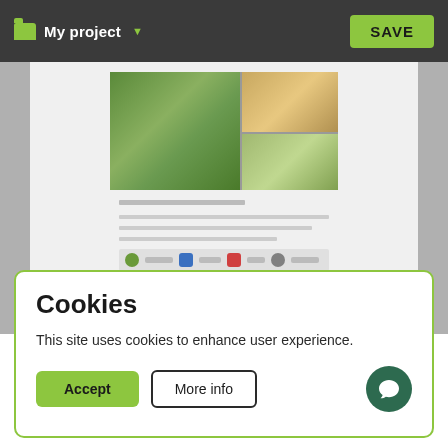My project  SAVE
[Figure (screenshot): Blurred webpage preview showing a photo collage of children outdoors, some text paragraphs, social sharing icons, and a page footer.]
Cookies
This site uses cookies to enhance user experience.
Accept  More info